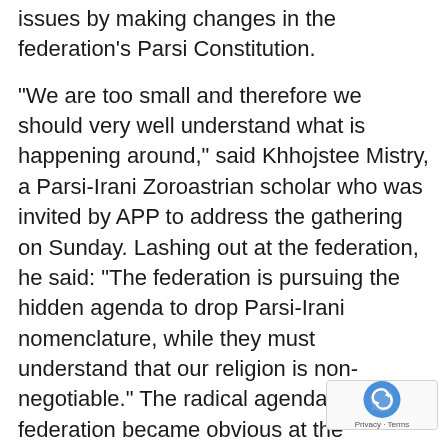issues by making changes in the federation's Parsi Constitution.
"We are too small and therefore we should very well understand what is happening around," said Khhojstee Mistry, a Parsi-Irani Zoroastrian scholar who was invited by APP to address the gathering on Sunday. Lashing out at the federation, he said: "The federation is pursuing the hidden agenda to drop Parsi-Irani nomenclature, while they must understand that our religion is non-negotiable." The radical agenda of the federation became obvious at the executive council meeting that was held in Thane in March last. There the Secunderabad-Hyderabad anjuman of the federation had tabled a proposal for a radical change in the Constitution.